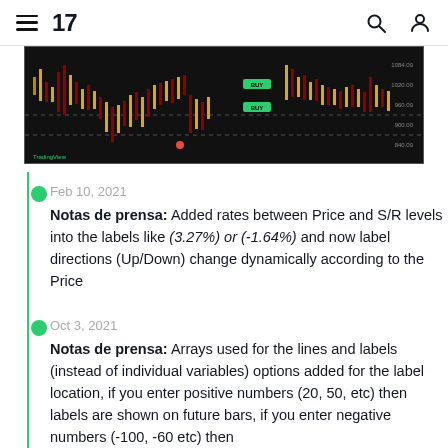TradingView
[Figure (screenshot): TradingView candlestick chart with black background, gold/red/green candlesticks, dashed price levels, and green label markers]
Feb 10, 2021
Notas de prensa: Added rates between Price and S/R levels into the labels like (3.27%) or (-1.64%) and now label directions (Up/Down) change dynamically according to the Price
Oct 3, 2021
Notas de prensa: Arrays used for the lines and labels (instead of individual variables) options added for the label location, if you enter positive numbers (20, 50, etc) then labels are shown on future bars, if you enter negative numbers (-100, -60 etc) then